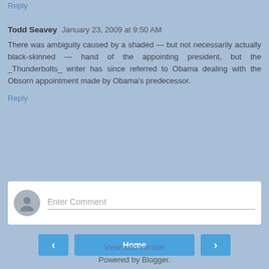Reply
Todd Seavey  January 23, 2009 at 9:50 AM
There was ambiguity caused by a shaded — but not necessarily actually black-skinned — hand of the appointing president, but the _Thunderbolts_ writer has since referred to Obama dealing with the Obsorn appointment made by Obama's predecessor.
Reply
Enter Comment
Home
View web version
Powered by Blogger.